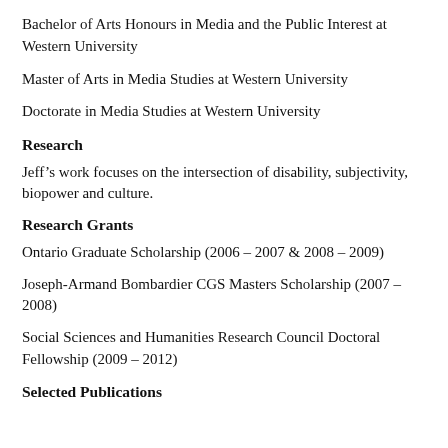Bachelor of Arts Honours in Media and the Public Interest at Western University
Master of Arts in Media Studies at Western University
Doctorate in Media Studies at Western University
Research
Jeff’s work focuses on the intersection of disability, subjectivity, biopower and culture.
Research Grants
Ontario Graduate Scholarship (2006 – 2007 & 2008 – 2009)
Joseph-Armand Bombardier CGS Masters Scholarship (2007 – 2008)
Social Sciences and Humanities Research Council Doctoral Fellowship (2009 – 2012)
Selected Publications